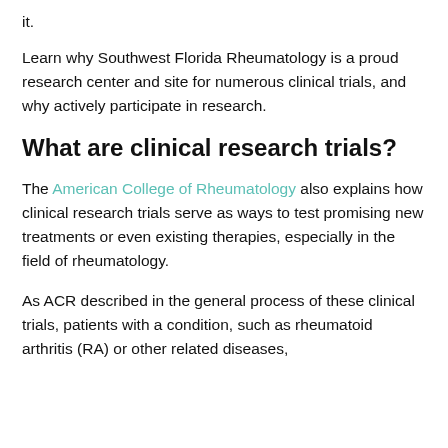it.
Learn why Southwest Florida Rheumatology is a proud research center and site for numerous clinical trials, and why actively participate in research.
What are clinical research trials?
The American College of Rheumatology also explains how clinical research trials serve as ways to test promising new treatments or even existing therapies, especially in the field of rheumatology.
As ACR described in the general process of these clinical trials, patients with a condition, such as rheumatoid arthritis (RA) or other related diseases,